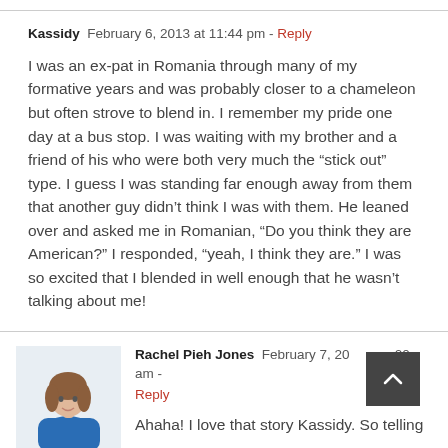Kassidy  February 6, 2013 at 11:44 pm - Reply
I was an ex-pat in Romania through many of my formative years and was probably closer to a chameleon but often strove to blend in. I remember my pride one day at a bus stop. I was waiting with my brother and a friend of his who were both very much the “stick out” type. I guess I was standing far enough away from them that another guy didn’t think I was with them. He leaned over and asked me in Romanian, “Do you think they are American?” I responded, “yeah, I think they are.” I was so excited that I blended in well enough that he wasn’t talking about me!
Rachel Pieh Jones  February 7, 2013 at 8:00 am - Reply
Ahaha! I love that story Kassidy. So telling